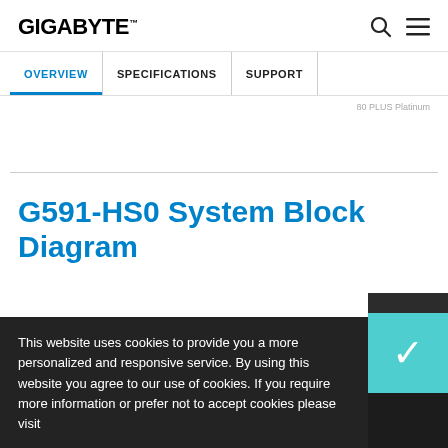GIGABYTE™
OVERVIEW | SPECIFICATIONS | SUPPORT
80 PLUS Platinum
G591-HS0 System Block Diagram
This website uses cookies to provide you a more personalized and responsive service. By using this website you agree to our use of cookies. If you require more information or prefer not to accept cookies please visit